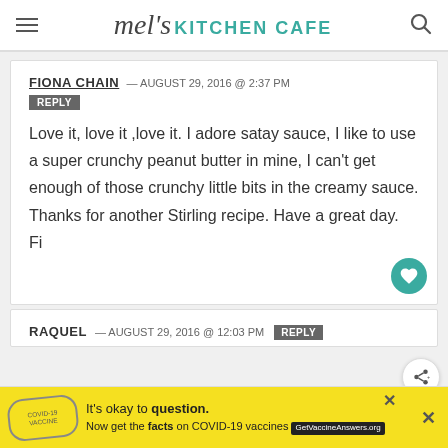mel's KITCHEN CAFE
FIONA CHAIN — AUGUST 29, 2016 @ 2:37 PM
REPLY
Love it, love it ,love it. I adore satay sauce, I like to use a super crunchy peanut butter in mine, I can't get enough of those crunchy little bits in the creamy sauce. Thanks for another Stirling recipe. Have a great day.
Fi
RAQUEL — AUGUST 29, 2016 @ 12:03 PM REPLY
It's okay to question. Now get the facts on COVID-19 vaccines GetVaccineAnswers.org